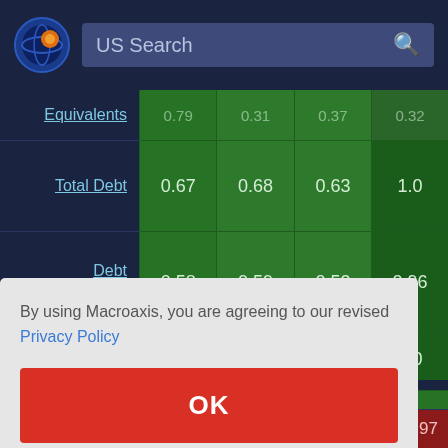[Figure (screenshot): Macroaxis website header with logo and US Search bar]
|  | Col1 | Col2 | Col3 | Col4 |
| --- | --- | --- | --- | --- |
| Equivalents | 0.79 | 0.31 | 0.37 | 0.32 |
| Total Debt | 0.67 | 0.68 | 0.63 | 1.0 |
| Debt Current | 0.58 | 0.59 | 0.52 | 0.96 |
|  |  |  |  | 1.0 |
|  |  |  |  | 0.83 |
| Intangible |  |  |  | 0.97 |
By using Macroaxis, you are agreeing to our revised Privacy Policy
OK